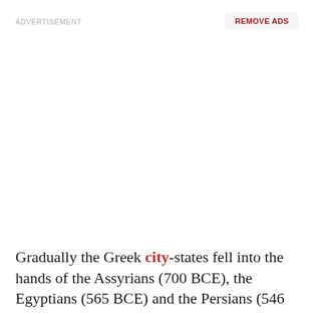ADVERTISEMENT
REMOVE ADS
Gradually the Greek city-states fell into the hands of the Assyrians (700 BCE), the Egyptians (565 BCE) and the Persians (546 BCE). Persian rule lasted until 332 BCE following the intervention of